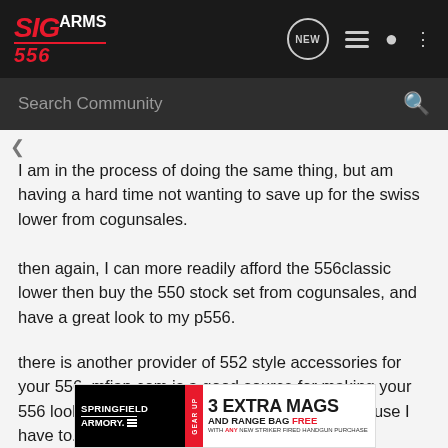SIG ARMS 556 – Search Community
I am in the process of doing the same thing, but am having a hard time not wanting to save up for the swiss lower from cogunsales.
then again, I can more readily afford the 556classic lower then buy the 550 stock set from cogunsales, and have a great look to my p556.
there is another provider of 552 style accessories for your 556, mfiap.com is a good source for making your 556 look like a 552. I dont mind pretending, because I have to. 😉
[Figure (screenshot): Springfield Armory Gear Up advertisement banner: 3 Extra Mags and Range Bag Free with any new Striker Fired Handgun purchase]